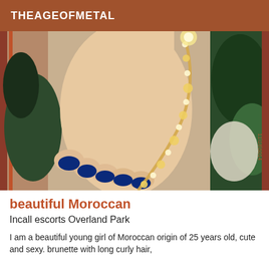THEAGEOFMETAL
[Figure (photo): Close-up photograph of a woman's foot with blue nail polish and glitter/henna decoration on the top of the foot, resting on a decorative rug. A date stamp '11\18\5014' is visible in orange on the right side.]
beautiful Moroccan
Incall escorts Overland Park
I am a beautiful young girl of Moroccan origin of 25 years old, cute and sexy. brunette with long curly hair,